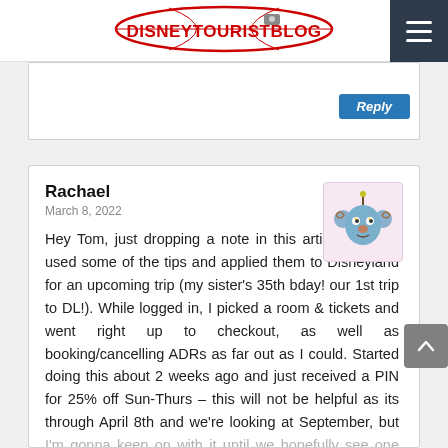DISNEYTOURISTBLOG
[Figure (screenshot): Reply button (blue) in top-right of comment area]
Rachael
March 8, 2022
[Figure (illustration): Cartoon avatar of a blue alien-like character with antenna, pink background]
Hey Tom, just dropping a note in this article to say I used some of the tips and applied them to Disneyland for an upcoming trip (my sister’s 35th bday! our 1st trip to DL!). While logged in, I picked a room & tickets and went right up to checkout, as well as booking/cancelling ADRs as far out as I could. Started doing this about 2 weeks ago and just received a PIN for 25% off Sun-Thurs – this will not be helpful as its through April 8th and we’re looking at September, but I’m gonna keep on with it until we hopefully see one later in the year. Here’s hoping!